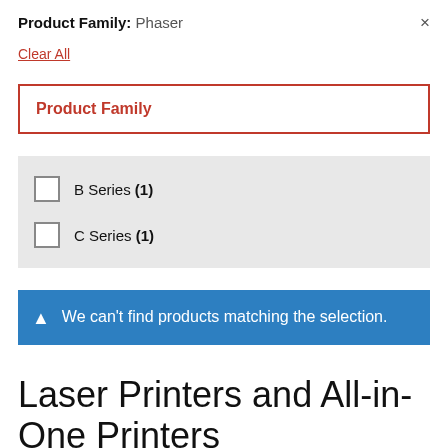Product Family: Phaser ×
Clear All
Product Family
B Series (1)
C Series (1)
We can't find products matching the selection.
Laser Printers and All-in-One Printers